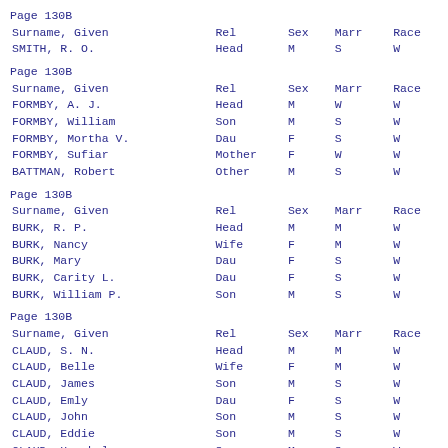| Surname, Given | Rel | Sex | Marr | Race |
| --- | --- | --- | --- | --- |
| SMITH, R. O. | Head | M | S | W |
| Surname, Given | Rel | Sex | Marr | Race |
| --- | --- | --- | --- | --- |
| FORMBY, A. J. | Head | M | W | W |
| FORMBY, William | Son | M | S | W |
| FORMBY, Mortha V. | Dau | F | S | W |
| FORMBY, Sufiar | Mother | F | W | W |
| BATTMAN, Robert | Other | M | S | W |
| Surname, Given | Rel | Sex | Marr | Race |
| --- | --- | --- | --- | --- |
| BURK, R. P. | Head | M | M | W |
| BURK, Nancy | Wife | F | M | W |
| BURK, Mary | Dau | F | S | W |
| BURK, Carity L. | Dau | F | S | W |
| BURK, William P. | Son | M | S | W |
| Surname, Given | Rel | Sex | Marr | Race |
| --- | --- | --- | --- | --- |
| CLAUD, S. N. | Head | M | M | W |
| CLAUD, Belle | Wife | F | M | W |
| CLAUD, James | Son | M | S | W |
| CLAUD, Emly | Dau | F | S | W |
| CLAUD, John | Son | M | S | W |
| CLAUD, Eddie | Son | M | S | W |
| CLAUD, Hershel | Son | M | S | W |
| CLAUD, Jacan | Father | M | M | W |